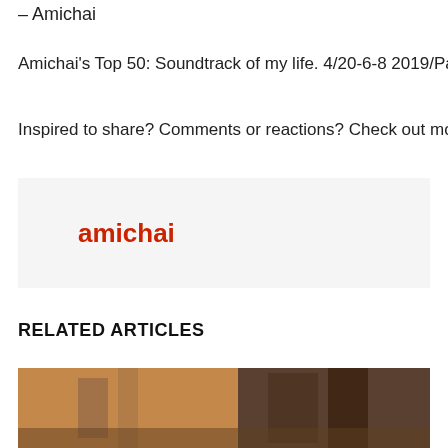– Amichai
Amichai's Top 50: Soundtrack of my life. 4/20-6-8 2019/Passove…
Inspired to share? Comments or reactions? Check out more on F…
[Figure (other): Author box with the name 'amichai' in red bold text on a light gray background]
RELATED ARTICLES
[Figure (photo): A related article photo showing what appears to be a person or animal in an outdoor/stone setting]